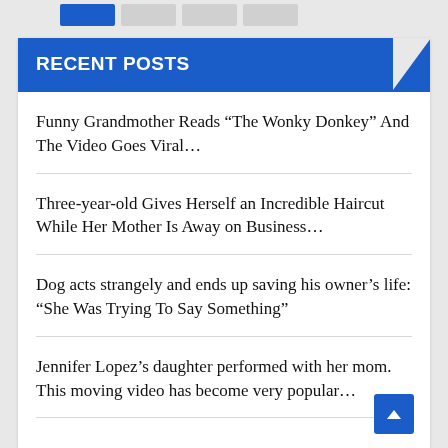[Figure (screenshot): Navigation tab buttons at top, one blue active and three grey inactive]
RECENT POSTS
Funny Grandmother Reads “The Wonky Donkey” And The Video Goes Viral…
Three-year-old Gives Herself an Incredible Haircut While Her Mother Is Away on Business…
Dog acts strangely and ends up saving his owner’s life: “She Was Trying To Say Something”
Jennifer Lopez’s daughter performed with her mom. This moving video has become very popular…